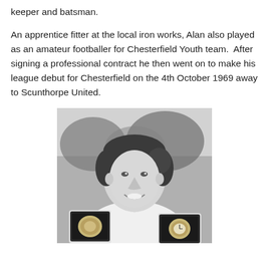keeper and batsman.
An apprentice fitter at the local iron works, Alan also played as an amateur footballer for Chesterfield Youth team.  After signing a professional contract he then went on to make his league debut for Chesterfield on the 4th October 1969 away to Scunthorpe United.
[Figure (photo): Black and white photograph of a young man with dark hair, smiling, holding two open award/medal boxes, wearing a light-coloured open-collar shirt, with trees/foliage visible in the background.]